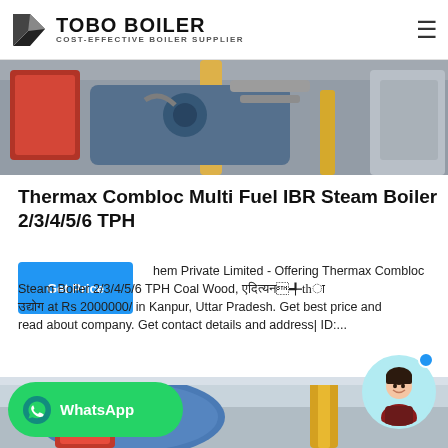TOBO BOILER - COST-EFFECTIVE BOILER SUPPLIER
[Figure (photo): Industrial boiler equipment with red components, yellow pipes, blue machinery, and hoses visible in a factory setting]
Thermax Combloc Multi Fuel IBR Steam Boiler 2/3/4/5/6 TPH
hem Private Limited - Offering Thermax Combloc Steam Boiler 2/3/4/5/6 TPH Coal Wood, at Rs 2000000/ in Kanpur, Uttar Pradesh. Get best price and read about company. Get contact details and address| ID:....
[Figure (photo): Industrial boiler room with blue cylindrical boiler, yellow pipe ductwork, and red burner components at bottom, with a WhatsApp chat button overlay and a chat avatar]